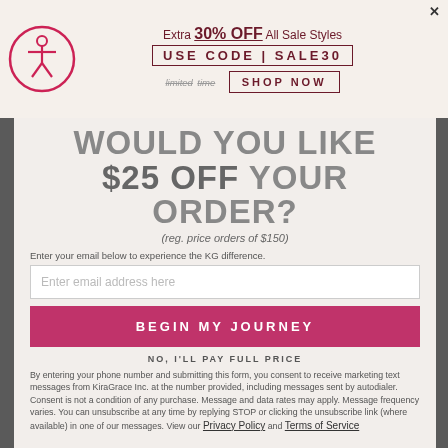[Figure (logo): Circular accessibility/human figure icon in pink/red outline]
Extra 30% OFF All Sale Styles
USE CODE | SALE30
limited time  SHOP NOW
WOULD YOU LIKE $25 OFF YOUR ORDER?
(reg. price orders of $150)
Enter your email below to experience the KG difference.
Enter email address here
BEGIN MY JOURNEY
NO, I'LL PAY FULL PRICE
By entering your phone number and submitting this form, you consent to receive marketing text messages from KiraGrace Inc. at the number provided, including messages sent by autodialer. Consent is not a condition of any purchase. Message and data rates may apply. Message frequency varies. You can unsubscribe at any time by replying STOP or clicking the unsubscribe link (where available) in one of our messages. View our Privacy Policy and Terms of Service